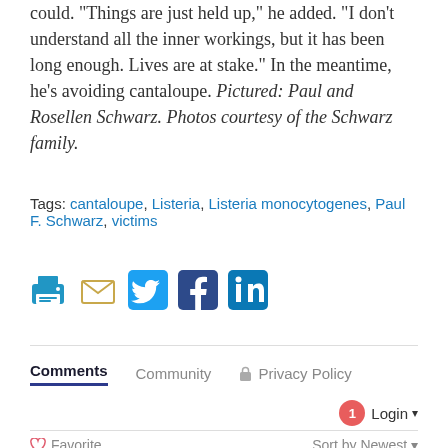could. “Things are just held up,” he added. “I don’t understand all the inner workings, but it has been long enough. Lives are at stake.” In the meantime, he’s avoiding cantaloupe. Pictured: Paul and Rosellen Schwarz. Photos courtesy of the Schwarz family.
Tags: cantaloupe, Listeria, Listeria monocytogenes, Paul F. Schwarz, victims
[Figure (infographic): Social sharing icons: print (blue printer), email (gold envelope), Twitter (cyan bird), Facebook (dark blue F), LinkedIn (blue in)]
Comments   Community   🔒 Privacy Policy
1  Login ▾
♡ Favorite    Sort by Newest ▾